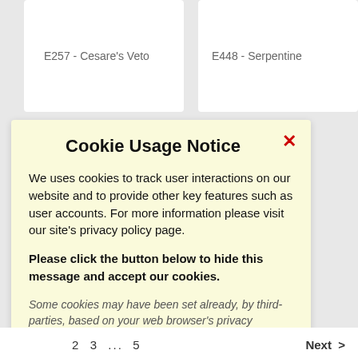E257 - Cesare's Veto
E448 - Serpentine
Cookie Usage Notice
We uses cookies to track user interactions on our website and to provide other key features such as user accounts. For more information please visit our site's privacy policy page.
Please click the button below to hide this message and accept our cookies.
Some cookies may have been set already, by third-parties, based on your web browser's privacy settings. If you continue to use the site, we'll assume you're happy to accept cookies.
Accept Cookies ✓
2 3 ... 5   Next >